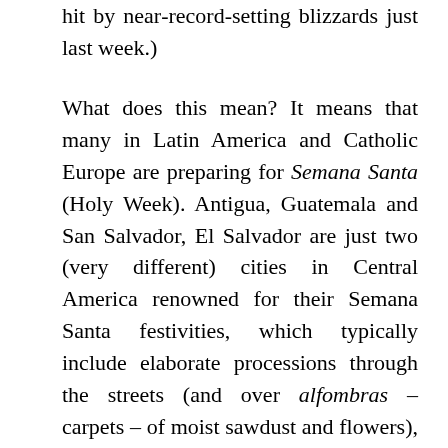hit by near-record-setting blizzards just last week.)
What does this mean? It means that many in Latin America and Catholic Europe are preparing for Semana Santa (Holy Week). Antigua, Guatemala and San Salvador, El Salvador are just two (very different) cities in Central America renowned for their Semana Santa festivities, which typically include elaborate processions through the streets (and over alfombras – carpets – of moist sawdust and flowers), from church to church in re-enactment of the crucifixion, burial, and, yes, resurrection of Christ. In my own city, the sprawling barrio of Iztapalapa is the venue for an annual Passion Play, although it is said to be